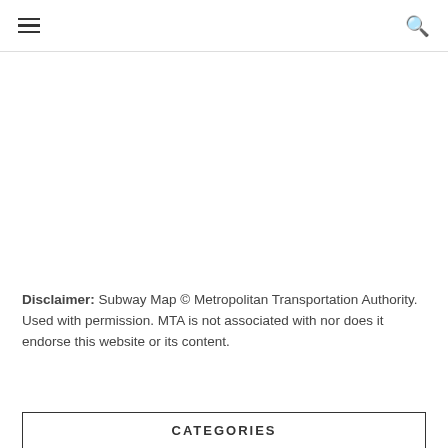≡  🔍
Disclaimer: Subway Map © Metropolitan Transportation Authority. Used with permission. MTA is not associated with nor does it endorse this website or its content.
CATEGORIES